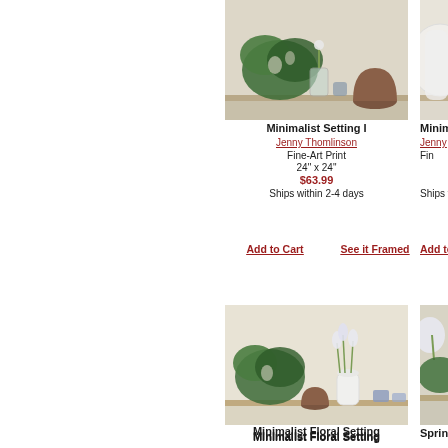[Figure (photo): Minimalist Setting I art print showing monstera leaves, glass vase, and brown ceramic vase on a shelf]
Minimalist Setting I
Jenny Thomlinson
Fine-Art Print
24" x 24"
$63.99
Ships within 2-4 days
[Figure (photo): Partial view of another minimalist art print (cropped on right side)]
Minim...
Jenny...
Fin...
Ships w...
Add to Cart
See it Framed
Add to Cart
[Figure (photo): Minimalist Floral Setting art print showing monstera leaf, white tulips in vase, small ceramic pot on shelf]
Minimalist Floral Setting
Jenny Thomlinson
Fine-Art Print
24" x 12"
$41.99
Ships within 2-4 days
[Figure (photo): Spring Arrangement art print, partially cropped, showing tulips and green leaves]
Spring Arra...
Jenny...
Fin...
Ships w...